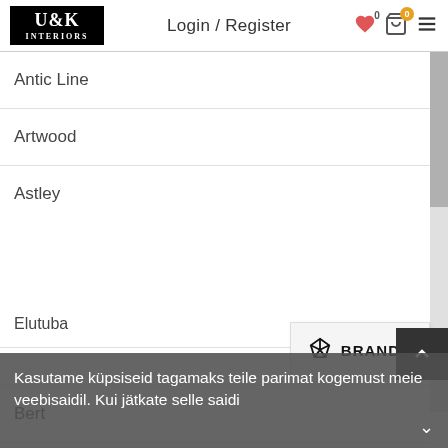U&K INTERIORS | Login / Register
Antic Line
Artwood
Astley
[Figure (infographic): BRANDS popup with diamond icon]
Bert
Tootekategooriad
Aksessuaarid
Elutuba
Kasutame küpsiseid tagamaks teile parimat kogemust meie veebisaidil. Kui jätkate selle saidi